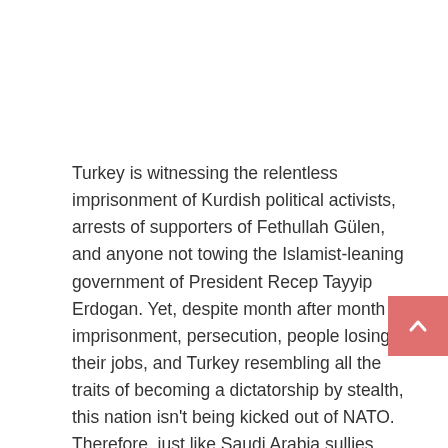Turkey is witnessing the relentless imprisonment of Kurdish political activists, arrests of supporters of Fethullah Gülen, and anyone not towing the Islamist-leaning government of President Recep Tayyip Erdogan. Yet, despite month after month of imprisonment, persecution, people losing their jobs, and Turkey resembling all the traits of becoming a dictatorship by stealth, this nation isn't being kicked out of NATO. Therefore, just like Saudi Arabia sullies democratic nations that turn a blind eye to this feudal monarchy, the same can be said of Turkey mocking the alleged role of NATO defending the democratic world in the northern hemisphere.
Reports stress that media manipulation highlights the utter erosion of democracy in Turkey. For example, the government-run Turkish Radio and Television Corporation in the first three weeks of March last year covered over…